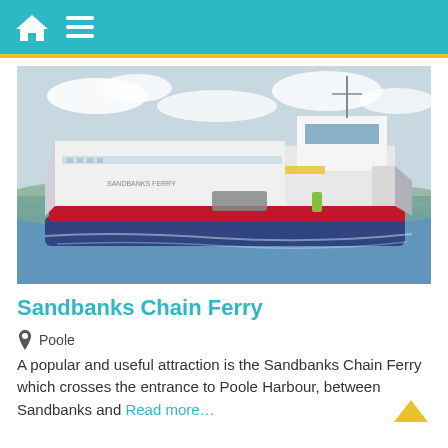Navigation bar with home icon and menu icon
[Figure (photo): Photograph of the Sandbanks Chain Ferry on water. A large white flat-deck chain ferry with red stripe is shown crossing the water, with a vehicle visible on the deck and a worker in a high-visibility jacket. Hills and cloudy sky in background.]
Sandbanks Chain Ferry
Poole
A popular and useful attraction is the Sandbanks Chain Ferry which crosses the entrance to Poole Harbour, between Sandbanks and Read more…